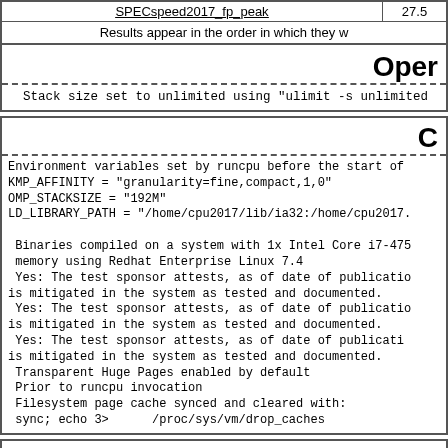| SPECspeed2017_fp_peak | 27.5 |
| --- | --- |
Results appear in the order in which they were submitted to SPEC; see disclaimer before results.
Oper
Stack size set to unlimited using "ulimit -s unlimited"
C
Environment variables set by runcpu before the start of the run:
KMP_AFFINITY = "granularity=fine,compact,1,0"
OMP_STACKSIZE = "192M"
LD_LIBRARY_PATH = "/home/cpu2017/lib/ia32:/home/cpu2017/lib/intel64"

Binaries compiled on a system with 1x Intel Core i7-4790 CPU + 32 GB memory using Redhat Enterprise Linux 7.4
Yes: The test sponsor attests, as of date of publication that CVE-2017-5754 (Meltdown) is mitigated in the system as tested and documented.
Yes: The test sponsor attests, as of date of publication that CVE-2017-5753 (Spectre variant 1) is mitigated in the system as tested and documented.
Yes: The test sponsor attests, as of date of publication that CVE-2017-5715 (Spectre variant 2) is mitigated in the system as tested and documented.
Transparent Huge Pages enabled by default
Prior to runcpu invocation
Filesystem page cache synced and cleared with:
sync; echo 3>      /proc/sys/vm/drop_caches
P